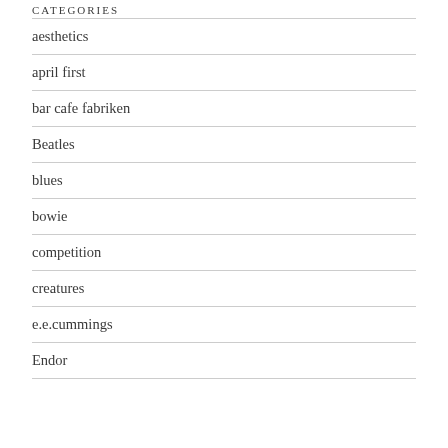CATEGORIES
aesthetics
april first
bar cafe fabriken
Beatles
blues
bowie
competition
creatures
e.e.cummings
Endor